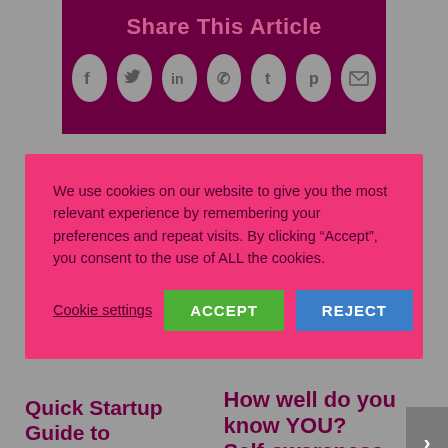Share This Article
[Figure (infographic): Social share icons in circles: Facebook, Twitter, LinkedIn, WhatsApp, Tumblr, Pinterest, Email]
We use cookies on our website to give you the most relevant experience by remembering your preferences and repeat visits. By clicking “Accept”, you consent to the use of ALL the cookies.
Cookie settings
ACCEPT
REJECT
Quick Startup Guide to
How well do you know YOU? Self-awareness is